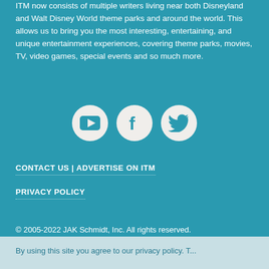ITM now consists of multiple writers living near both Disneyland and Walt Disney World theme parks and around the world. This allows us to bring you the most interesting, entertaining, and unique entertainment experiences, covering theme parks, movies, TV, video games, special events and so much more.
[Figure (other): Three social media icon circles: YouTube, Facebook, Twitter on teal background]
CONTACT US | ADVERTISE ON ITM
PRIVACY POLICY
© 2005-2022 JAK Schmidt, Inc. All rights reserved.
By using this site you agree to our privacy policy. T...